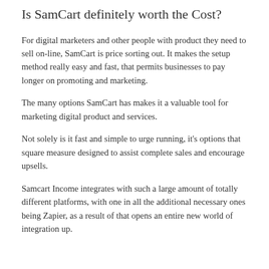Is SamCart definitely worth the Cost?
For digital marketers and other people with product they need to sell on-line, SamCart is price sorting out. It makes the setup method really easy and fast, that permits businesses to pay longer on promoting and marketing.
The many options SamCart has makes it a valuable tool for marketing digital product and services.
Not solely is it fast and simple to urge running, it's options that square measure designed to assist complete sales and encourage upsells.
Samcart Income integrates with such a large amount of totally different platforms, with one in all the additional necessary ones being Zapier, as a result of that opens an entire new world of integration up.